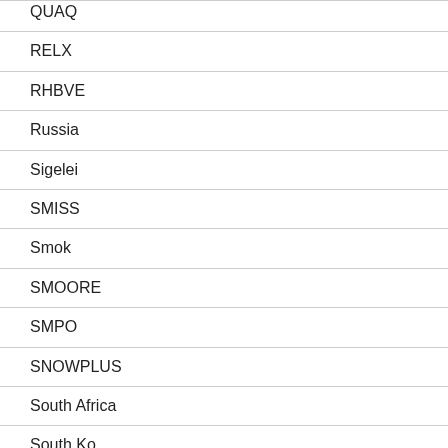QUAQ
RELX
RHBVE
Russia
Sigelei
SMISS
Smok
SMOORE
SMPO
SNOWPLUS
South Africa
South Korea